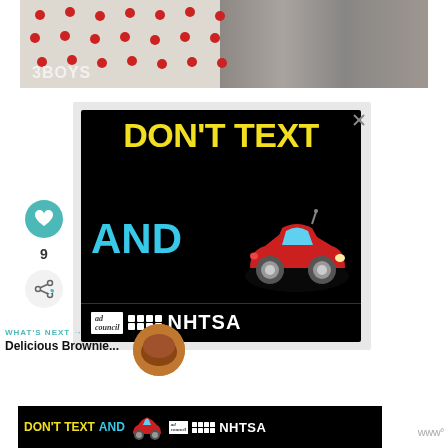[Figure (photo): Top portion of a webpage showing a polka-dot fabric/napkin on a wood surface background, with a '3Boys' logo watermark overlay in bottom left.]
[Figure (screenshot): Advertisement with black background showing 'DON'T TEXT AND' in yellow and cyan text with a cartoon red car graphic, and Ad Council / NHTSA branding at the bottom.]
[Figure (screenshot): Left sidebar showing a teal heart button, the number 9, and a share icon button.]
WHAT'S NEXT → Delicious Brownie...
[Figure (screenshot): Bottom banner advertisement repeating 'DON'T TEXT AND' with a small cartoon red car and Ad Council / NHTSA logos, with a close X button. A 'www°' logo appears at the far right.]